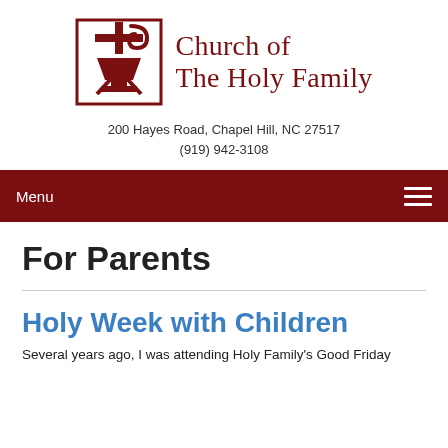[Figure (logo): Church of The Holy Family logo with cross and stylized symbol in dark red, alongside the church name text]
200 Hayes Road, Chapel Hill, NC 27517
(919) 942-3108
Menu
For Parents
Holy Week with Children
Several years ago, I was attending Holy Family's Good Friday